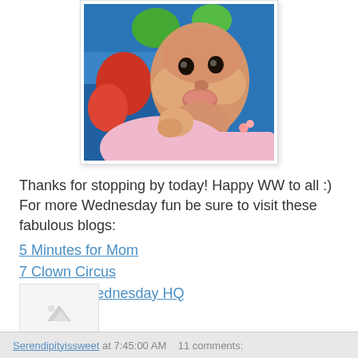[Figure (photo): Close-up photo of a baby wearing a pink outfit, lying on a colorful background with blue and red elements, making a pouty face expression.]
Thanks for stopping by today! Happy WW to all :)
For more Wednesday fun be sure to visit these fabulous blogs:
5 Minutes for Mom
7 Clown Circus
Wordless Wednesday HQ
[Figure (photo): Small placeholder image with a mountain/landscape icon]
Serendipityissweet at 7:45:00 AM   11 comments: